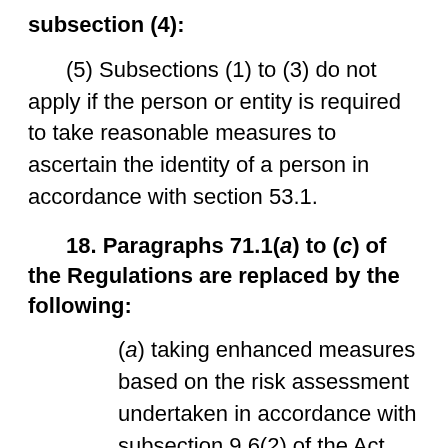subsection (4):
(5) Subsections (1) to (3) do not apply if the person or entity is required to take reasonable measures to ascertain the identity of a person in accordance with section 53.1.
18. Paragraphs 71.1(a) to (c) of the Regulations are replaced by the following:
(a) taking enhanced measures based on the risk assessment undertaken in accordance with subsection 9.6(2) of the Act...